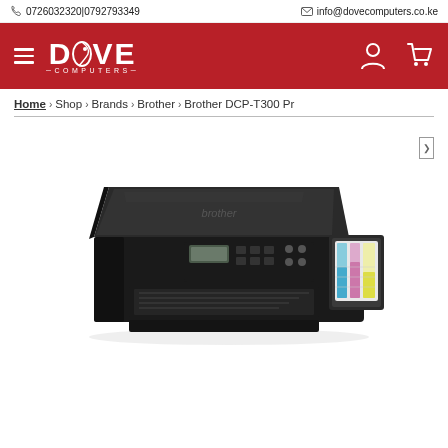0726032320 | 0792793349   info@dovecomputers.co.ke
[Figure (logo): Dove Computers logo - white text on red background with hamburger menu icon]
Home > Shop > Brands > Brother > Brother DCP-T300 Pr
[Figure (photo): Brother DCP-T300 printer - black inkjet all-in-one printer with ink tank system on the right side]